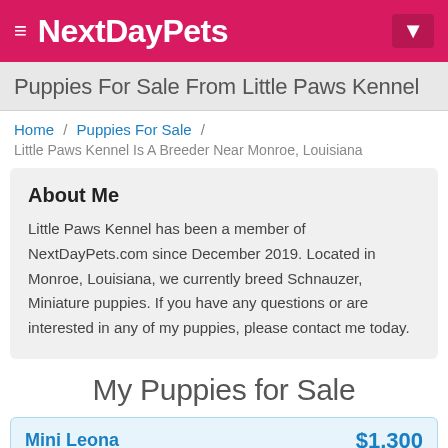NextDayPets
Puppies For Sale From Little Paws Kennel
Home / Puppies For Sale / Little Paws Kennel Is A Breeder Near Monroe, Louisiana
About Me
Little Paws Kennel has been a member of NextDayPets.com since December 2019. Located in Monroe, Louisiana, we currently breed Schnauzer, Miniature puppies. If you have any questions or are interested in any of my puppies, please contact me today.
My Puppies for Sale
Mini Leona   $1,300
BREED: Schnauzer, Miniature